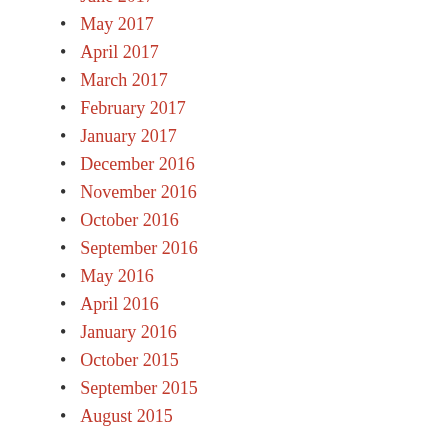June 2017
May 2017
April 2017
March 2017
February 2017
January 2017
December 2016
November 2016
October 2016
September 2016
May 2016
April 2016
January 2016
October 2015
September 2015
August 2015